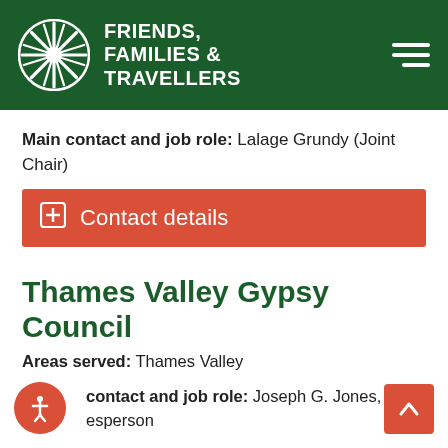[Figure (logo): Friends, Families & Travellers logo with circular wheel icon on dark green header background]
Main contact and job role: Lalage Grundy (Joint Chair)
Contact details
Thames Valley Gypsy Council
Areas served: Thames Valley
Main contact and job role: Joseph G. Jones, Spokesperson